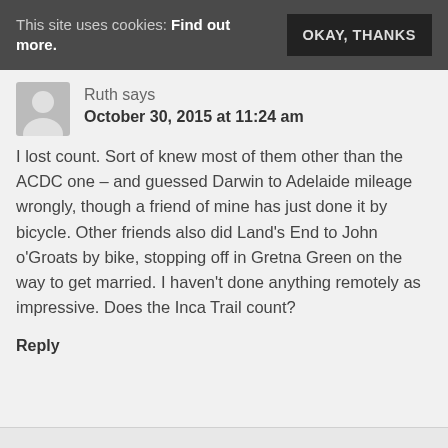This site uses cookies: Find out more.  OKAY, THANKS
Ruth says
October 30, 2015 at 11:24 am
I lost count. Sort of knew most of them other than the ACDC one – and guessed Darwin to Adelaide mileage wrongly, though a friend of mine has just done it by bicycle. Other friends also did Land's End to John o'Groats by bike, stopping off in Gretna Green on the way to get married. I haven't done anything remotely as impressive. Does the Inca Trail count?
Reply